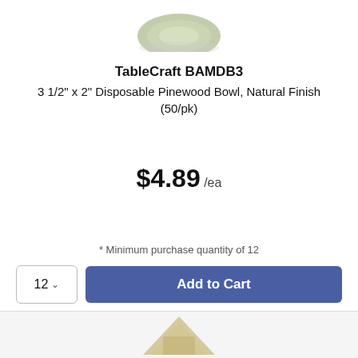[Figure (photo): Partial product image of a disposable pinewood bowl, natural finish, shown from above, partially cropped at top of card]
TableCraft BAMDB3
3 1/2" x 2" Disposable Pinewood Bowl, Natural Finish (50/pk)
$4.89 /ea
* Minimum purchase quantity of 12
12 ∨  Add to Cart
[Figure (photo): Partial product image of another disposable pinewood item, partially cropped at bottom of page]